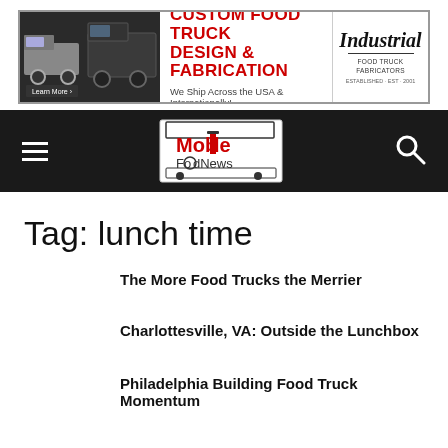[Figure (illustration): Banner advertisement for Industrial Food Truck Fabricators featuring food trucks, bold red text reading CUSTOM FOOD TRUCK DESIGN & FABRICATION, tagline We Ship Across the USA & Internationally!, a Learn More button, and an Industrial logo]
[Figure (logo): Mobile Food News logo on dark navigation bar with hamburger menu on left and search icon on right]
Tag: lunch time
The More Food Trucks the Merrier
Charlottesville, VA: Outside the Lunchbox
Philadelphia Building Food Truck Momentum